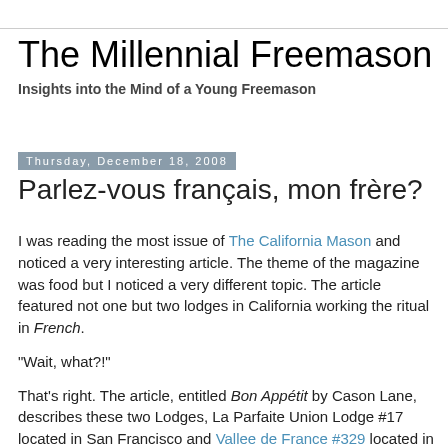The Millennial Freemason
Insights into the Mind of a Young Freemason
Thursday, December 18, 2008
Parlez-vous français, mon frère?
I was reading the most issue of The California Mason and noticed a very interesting article. The theme of the magazine was food but I noticed a very different topic. The article featured not one but two lodges in California working the ritual in French.
“Wait, what?!”
That’s right. The article, entitled Bon Appétit by Cason Lane, describes these two Lodges, La Parfaite Union Lodge #17 located in San Francisco and Vallee de France #329 located in Pasadena who do their ritual work. This fact piqued my curiosity. I visited thehistor connection of Vallee de France